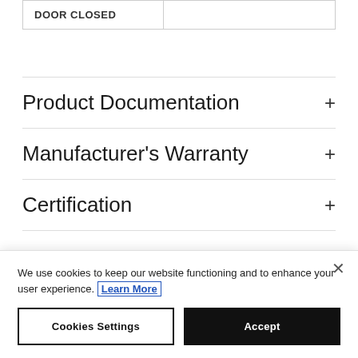| DOOR CLOSED |  |
| --- | --- |
Product Documentation +
Manufacturer's Warranty +
Certification +
We use cookies to keep our website functioning and to enhance your user experience. Learn More